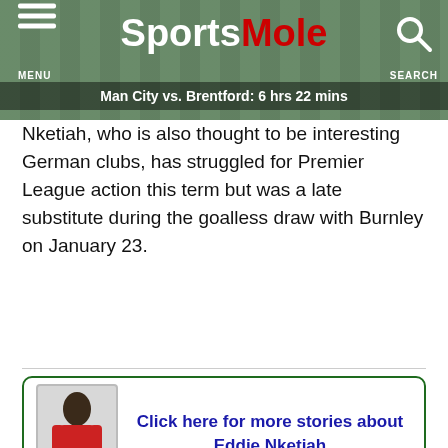Sports Mole — Man City vs. Brentford: 6 hrs 22 mins
Nketiah, who is also thought to be interesting German clubs, has struggled for Premier League action this term but was a late substitute during the goalless draw with Burnley on January 23.
Click here for more stories about Eddie Nketiah
Click here for more stories about Arsenal
[Figure (photo): Video thumbnail showing construction workers wearing yellow hard hats and hi-vis vests with a play button overlay]